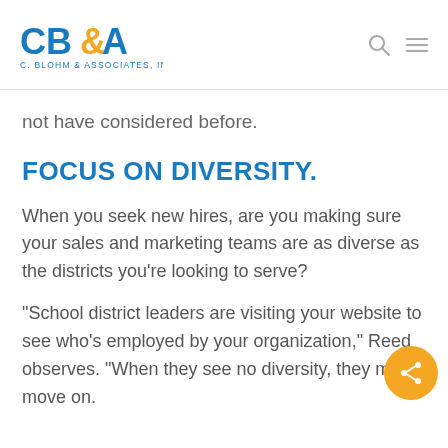CB&A C. Blohm & Associates, Inc.
not have considered before.
FOCUS ON DIVERSITY.
When you seek new hires, are you making sure your sales and marketing teams are as diverse as the districts you're looking to serve?
“School district leaders are visiting your website to see who’s employed by your organization,” Reed observes. “When they see no diversity, they may move on.